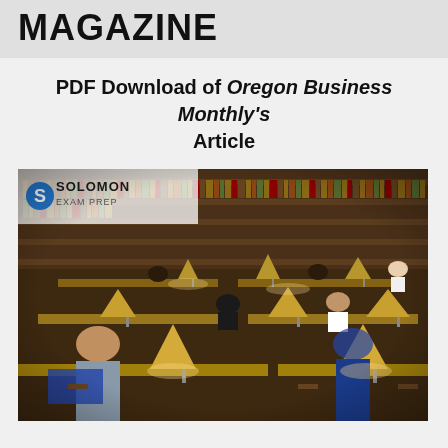MAGAZINE
PDF Download of Oregon Business Monthly's Article
[Figure (photo): Library reading room with students studying at wooden tables with brass lamps, surrounded by bookshelves. Solomon Exam Prep logo visible in upper left corner of image.]